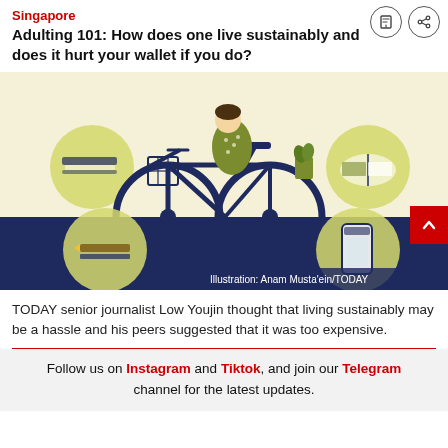Singapore
Adulting 101: How does one live sustainably and does it hurt your wallet if you do?
[Figure (illustration): Illustration of a person riding a bicycle with a basket, surrounded by circular icons depicting sustainable items such as reusable bags, books, a plant, a reusable bottle, and other eco-friendly objects. Navy blue and yellow-green color scheme on a cream background.]
Illustration: Anam Musta'ein/TODAY
TODAY senior journalist Low Youjin thought that living sustainably may be a hassle and his peers suggested that it was too expensive.
Follow us on Instagram and Tiktok, and join our Telegram channel for the latest updates.